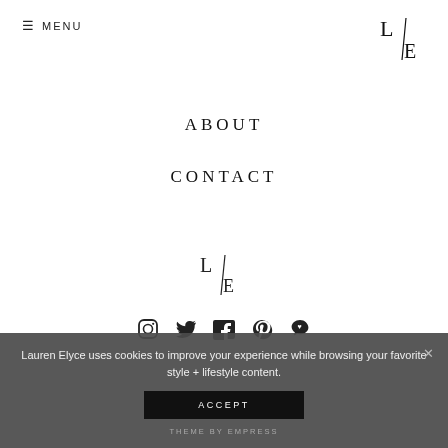≡ MENU
[Figure (logo): L/E logo mark — top right corner, two letters L and E separated by a diagonal slash]
ABOUT
CONTACT
[Figure (logo): L/E logo mark — centered on page]
[Figure (infographic): Row of 5 social media icons: Instagram, Twitter, Facebook, Pinterest, Bloglovin heart]
Lauren Elyce uses cookies to improve your experience while browsing your favorite style + lifestyle content.
ACCEPT
THEME BY EMPRESS